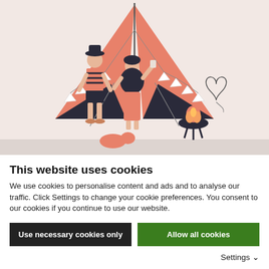[Figure (illustration): A camping scene illustration on a warm beige/pink background. A large salmon/coral colored triangular tent with white bunting flags occupies the upper portion. Two figures stand in front of the tent — one wearing a striped outfit, another in dark clothing holding a drink. A campfire in a bowl on a stand with heart-shaped smoke sits to the right.]
This website uses cookies
We use cookies to personalise content and ads and to analyse our traffic. Click Settings to change your cookie preferences. You consent to our cookies if you continue to use our website.
Use necessary cookies only
Allow all cookies
Settings